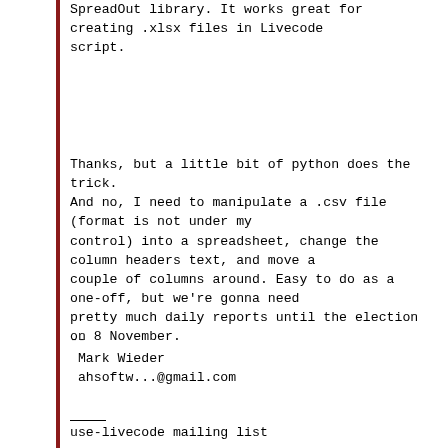SpreadOut library. It works great for creating .xlsx files in Livecode script.
Thanks, but a little bit of python does the trick.
And no, I need to manipulate a .csv file (format is not under my control) into a spreadsheet, change the column headers text, and move a couple of columns around. Easy to do as a one-off, but we're gonna need pretty much daily reports until the election on 8 November.
--
 Mark Wieder
 ahsoftw...@gmail.com
use-livecode mailing list